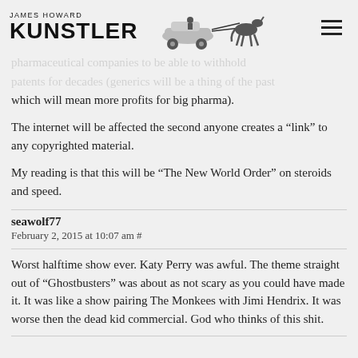JAMES HOWARD KUNSTLER
and the rest of us peons will lose.
pharmaceutical companies to be able to withhold patents for decades (generics will be a thing of the past which will mean more profits for big pharma).
The internet will be affected the second anyone creates a “link” to any copyrighted material.
My reading is that this will be “The New World Order” on steroids and speed.
seawolf77
February 2, 2015 at 10:07 am #
Worst halftime show ever. Katy Perry was awful. The theme straight out of “Ghostbusters” was about as not scary as you could have made it. It was like a show pairing The Monkees with Jimi Hendrix. It was worse then the dead kid commercial. God who thinks of this shit.
Ghung